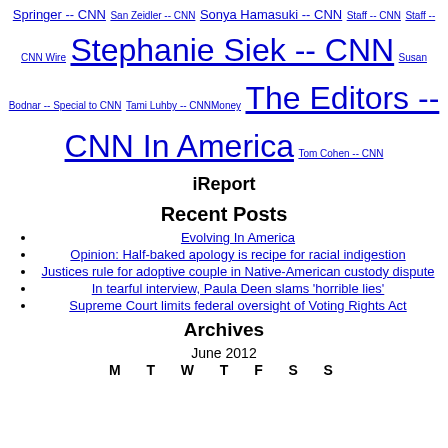Springer -- CNN  San Zeidler -- CNN  Sonya Hamasuki -- CNN  Staff -- CNN  Staff -- CNN Wire  Stephanie Siek -- CNN  Susan Bodnar -- Special to CNN  Tami Luhby -- CNNMoney  The Editors -- CNN In America  Tom Cohen -- CNN
iReport
Recent Posts
Evolving In America
Opinion: Half-baked apology is recipe for racial indigestion
Justices rule for adoptive couple in Native-American custody dispute
In tearful interview, Paula Deen slams 'horrible lies'
Supreme Court limits federal oversight of Voting Rights Act
Archives
June 2012
M T W T F S S